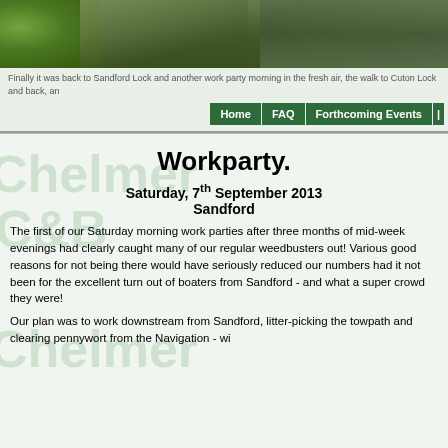[Figure (photo): Outdoor photograph showing green vegetation, leaves and plants against a dark rocky or water background]
Finally it was back to Sandford Lock and another work party morning in the fresh air, the walk to Cuton Lock and back, an
Home | FAQ | Forthcoming Events |
Workparty.
Saturday, 7th September 2013 Sandford
The first of our Saturday morning work parties after three months of mid-week evenings had clearly caught many of our regular weedbusters out! Various good reasons for not being there would have seriously reduced our numbers had it not been for the excellent turn out of boaters from Sandford - and what a super crowd they were!
Our plan was to work downstream from Sandford, litter-picking the towpath and clearing pennywort from the Navigation - wi